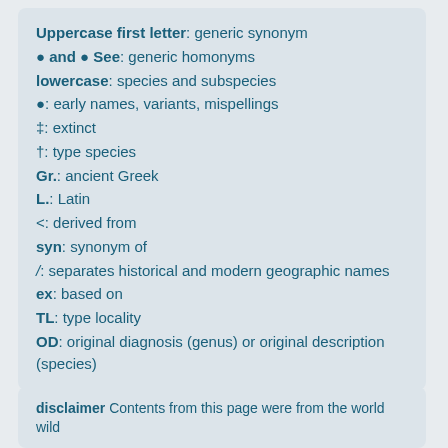Uppercase first letter: generic synonym
• and • See: generic homonyms
lowercase: species and subspecies
•: early names, variants, mispellings
‡: extinct
†: type species
Gr.: ancient Greek
L.: Latin
<: derived from
syn: synonym of
/: separates historical and modern geographic names
ex: based on
TL: type locality
OD: original diagnosis (genus) or original description (species)
disclaimer Contents from this page were from the world wild